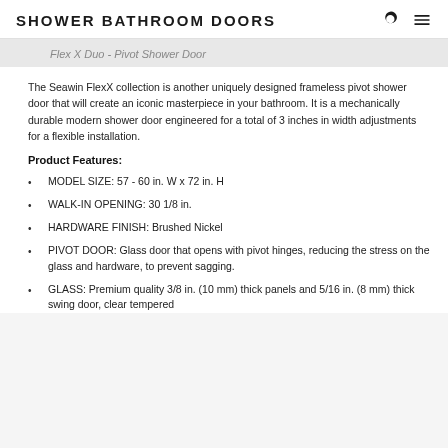SHOWER BATHROOM DOORS
Flex X Duo - Pivot Shower Door
The Seawin FlexX collection is another uniquely designed frameless pivot shower door that will create an iconic masterpiece in your bathroom. It is a mechanically durable modern shower door engineered for a total of 3 inches in width adjustments for a flexible installation.
Product Features:
MODEL SIZE: 57 - 60 in. W x 72 in. H
WALK-IN OPENING: 30 1/8 in.
HARDWARE FINISH: Brushed Nickel
PIVOT DOOR: Glass door that opens with pivot hinges, reducing the stress on the glass and hardware, to prevent sagging.
GLASS: Premium quality 3/8 in. (10 mm) thick panels and 5/16 in. (8 mm) thick swing door, clear tempered